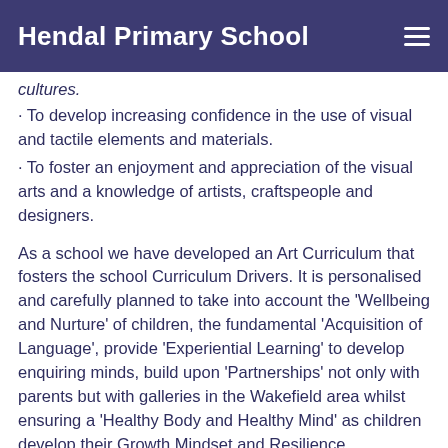Hendal Primary School
cultures.
· To develop increasing confidence in the use of visual and tactile elements and materials.
· To foster an enjoyment and appreciation of the visual arts and a knowledge of artists, craftspeople and designers.
As a school we have developed an Art Curriculum that fosters the school Curriculum Drivers. It is personalised and carefully planned to take into account the 'Wellbeing and Nurture' of children, the fundamental 'Acquisition of Language', provide 'Experiential Learning' to develop enquiring minds, build upon 'Partnerships' not only with parents but with galleries in the Wakefield area whilst ensuring a 'Healthy Body and Healthy Mind' as children develop their Growth Mindset and Resilience.